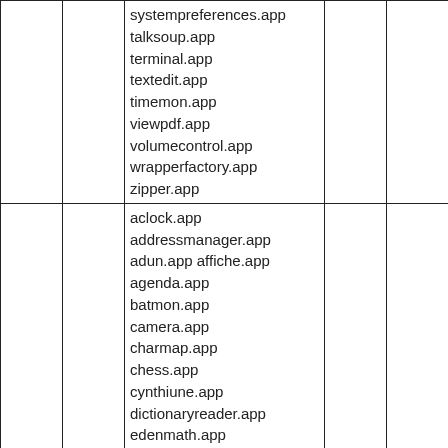|  |  | systempreferences.app talksoup.app terminal.app textedit.app timemon.app viewpdf.app volumecontrol.app wrapperfactory.app zipper.app |  |  |
|  |  | aclock.app addressmanager.app adun.app affiche.app agenda.app batmon.app camera.app charmap.app chess.app cynthiune.app dictionaryreader.app edenmath.app fontmanager.app fortunate.app ftp.app gnumail.app gnustep-dl2 gnustep-dl2-postgresql-adaptor |  |  |